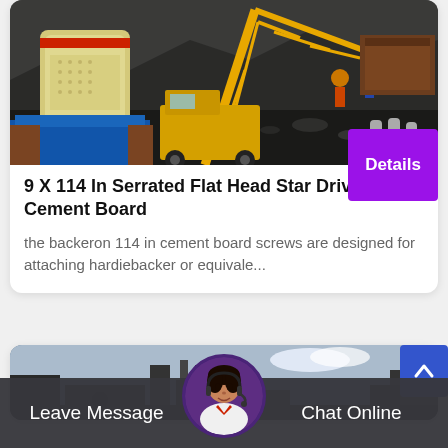[Figure (photo): Mining/quarry site with industrial crusher equipment (yellow/red/blue), crane, dump truck, and workers with dark rocky terrain in background]
9 X 114 In Serrated Flat Head Star Drive Cement Board
the backeron 114 in cement board screws are designed for attaching hardiebacker or equivale...
[Figure (photo): Partial view of industrial machinery at a mining or drilling site, with blue sky]
Leave Message
Chat Online